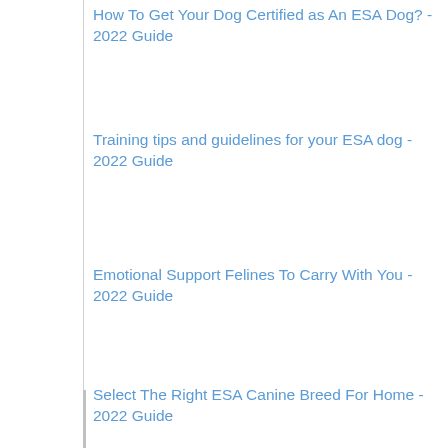How To Get Your Dog Certified as An ESA Dog? - 2022 Guide
Training tips and guidelines for your ESA dog - 2022 Guide
Emotional Support Felines To Carry With You - 2022 Guide
Select The Right ESA Canine Breed For Home - 2022 Guide